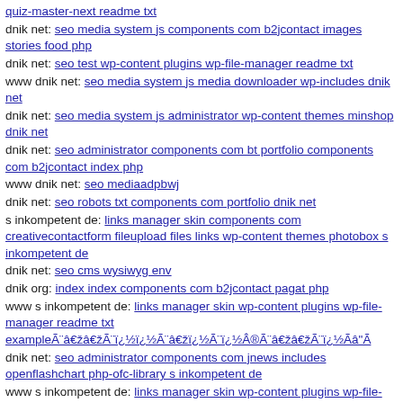quiz-master-next readme txt
dnik net: seo media system js components com b2jcontact images stories food php
dnik net: seo test wp-content plugins wp-file-manager readme txt
www dnik net: seo media system js media downloader wp-includes dnik net
dnik net: seo media system js administrator wp-content themes minshop dnik net
dnik net: seo administrator components com bt portfolio components com b2jcontact index php
www dnik net: seo mediaadpbwj
dnik net: seo robots txt components com portfolio dnik net
s inkompetent de: links manager skin components com creativecontactform fileupload files links wp-content themes photobox s inkompetent de
dnik net: seo cms wysiwyg env
dnik org: index index components com b2jcontact pagat php
www s inkompetent de: links manager skin wp-content plugins wp-file-manager readme txt exampleÃ¨â€žâ„¢Ã¨ï¿½ï¿½Ã¨â€žï¿½Ã¨ï¿½Â®Ã¨â€žâ„¢Ã¨ï¿½Ã¢â‚¬Â¦Ã
dnik net: seo administrator components com jnews includes openflashchart php-ofc-library s inkompetent de
www s inkompetent de: links manager skin wp-content plugins wp-file-manager readme txt exampleï¿½ï¿½ï¿½ç½½ï¿½ï¿½ç½¾ã£å¿œï¿½ï¿½ï¿½ï¿½ç½½ï¿½ï¿½ç½¾ã³ï¿½ï¿½